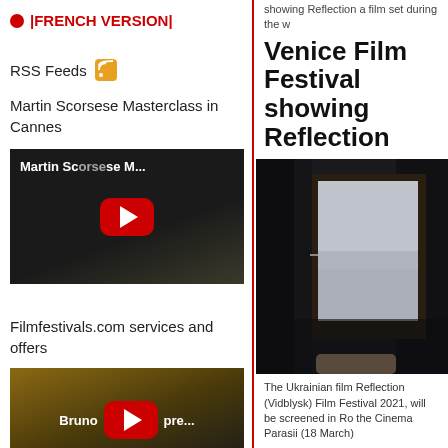|FRENCH VERSION|
RSS Feeds
Martin Scorsese Masterclass in Cannes
[Figure (screenshot): YouTube video thumbnail for Martin Scorsese Masterclass with red play button]
Filmfestivals.com services and offers
[Figure (screenshot): YouTube video thumbnail for Bruno Filmfestivals.com presentation with red play button and CONNECTING FILM TO FESTIVALS tagline]
showing Reflection a film set during the w
Venice Film Festival showing Reflection
[Figure (photo): Dark room interior with a window showing a grey sky, person's hand visible at bottom]
The Ukrainian film Reflection (Vidblysk) Film Festival 2021, will be screened in Ro the Cinema Parasii (18 March)